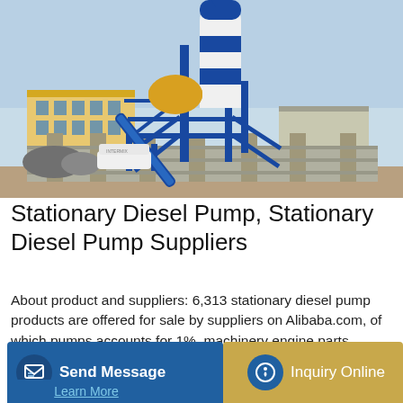[Figure (photo): Photograph of a stationary concrete mixing plant or batching station with a tall blue and white cylindrical silo, blue steel framework, yellow mixing components, a conveyor belt, and a concrete retaining wall in the foreground, taken at an industrial yard with a colorful building in the background under a light blue sky.]
Stationary Diesel Pump, Stationary Diesel Pump Suppliers
About product and suppliers: 6,313 stationary diesel pump products are offered for sale by suppliers on Alibaba.com, of which pumps accounts for 1%, machinery engine parts accounts for 1%, and construction machinery parts accounts for 1%. A wide variety of stationary diesel pump options are available to you, such as pneumatic